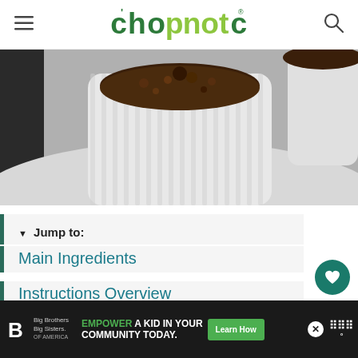chopnotch
[Figure (photo): Close-up photo of a chocolate mug cake or chocolate dessert in a white ribbed ramekin on a white plate, with chocolate crumble texture visible.]
▼ Jump to:
Main Ingredients
Instructions Overview
[Figure (infographic): Advertisement banner: Big Brothers Big Sisters logo on left, center text reads EMPOWER A KID IN YOUR COMMUNITY TODAY., green Learn How button, close X button, weather widget on right.]